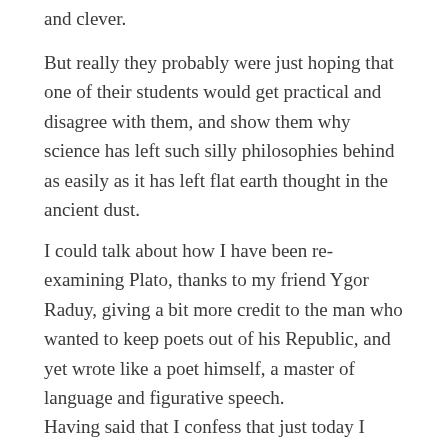and clever.
But really they probably were just hoping that one of their students would get practical and disagree with them, and show them why science has left such silly philosophies behind as easily as it has left flat earth thought in the ancient dust.
I could talk about how I have been re-examining Plato, thanks to my friend Ygor Raduy, giving a bit more credit to the man who wanted to keep poets out of his Republic, and yet wrote like a poet himself, a master of language and figurative speech.
Having said that I confess that just today I